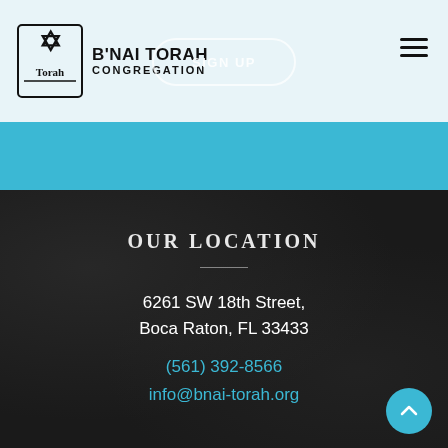[Figure (logo): B'nai Torah Congregation logo with stylized menorah/figures emblem and text]
SIGN UP
[Figure (other): Hamburger menu icon (three horizontal lines)]
[Figure (other): Cyan/blue horizontal band]
OUR LOCATION
6261 SW 18th Street,
Boca Raton, FL 33433
(561) 392-8566
info@bnai-torah.org